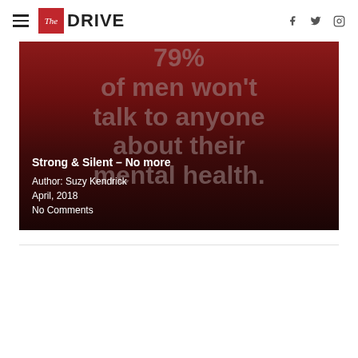The Drive — navigation with hamburger menu, logo, and social icons (Facebook, Twitter, Instagram)
[Figure (photo): Dark red gradient hero image background with large faded text reading '79% of men won't talk to anyone about their mental health.' overlaid with article title 'Strong & Silent – No more', author 'Suzy Kendrick', date 'April, 2018', and 'No Comments']
Strong & Silent – No more
Author: Suzy Kendrick
April, 2018
No Comments